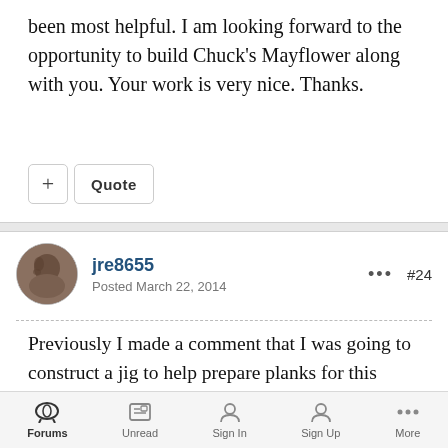been most helpful. I am looking forward to the opportunity to build Chuck's Mayflower along with you. Your work is very nice. Thanks.
+ Quote
jre8655
Posted March 22, 2014
... #24
Previously I made a comment that I was going to construct a jig to help prepare planks for this build.  I wasn't sure if the time spent designing and building such a jig would ultimately save future effort with the planks.  Well here is the jig I came up with.
Forums  Unread  Sign In  Sign Up  More